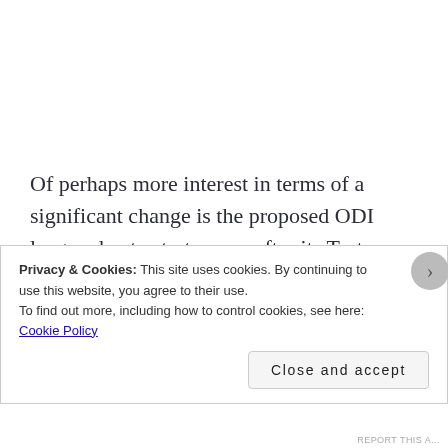Of perhaps more interest in terms of a significant change is the proposed ODI league due to start a year after its Test equivalent.  One day series have always been utterly disposable (without looking it up, can you remember the series results even from this summer?), to the point that
Privacy & Cookies: This site uses cookies. By continuing to use this website, you agree to their use.
To find out more, including how to control cookies, see here: Cookie Policy
Close and accept